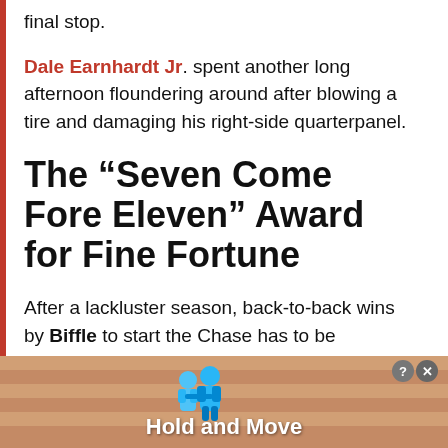final stop.
Dale Earnhardt Jr. spent another long afternoon floundering around after blowing a tire and damaging his right-side quarterpanel.
The “Seven Come Fore Eleven” Award for Fine Fortune
After a lackluster season, back-to-back wins by Biffle to start the Chase has to be considered a major shock. It does indeed
[Figure (screenshot): Advertisement banner at the bottom of the page showing 'Hold and Move' app with blue cartoon figures and a close button]